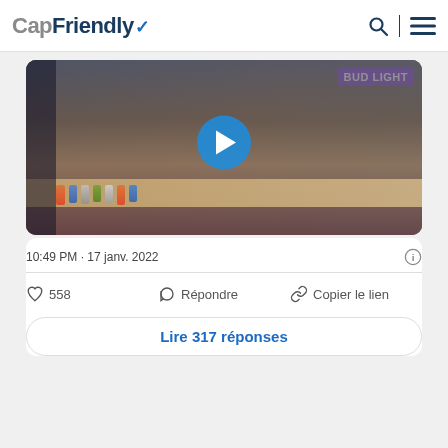CapFriendly
[Figure (photo): Video thumbnail showing a confrontation scene at a hockey arena concession stand. A man in a grey shirt leans over the counter toward multiple people. BUD LIGHT sign visible in the upper right. Play button overlay in the center.]
10:49 PM · 17 janv. 2022
558  Répondre  Copier le lien
Lire 317 réponses